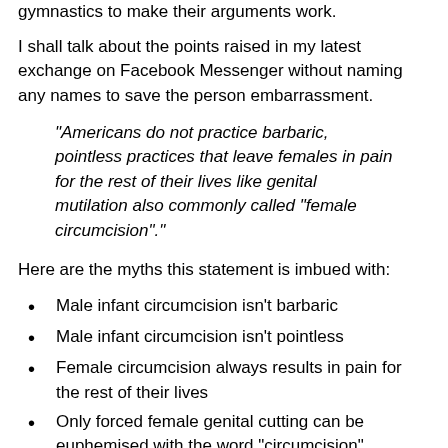gymnastics to make their arguments work.
I shall talk about the points raised in my latest exchange on Facebook Messenger without naming any names to save the person embarrassment.
"Americans do not practice barbaric, pointless practices that leave females in pain for the rest of their lives like genital mutilation also commonly called "female circumcision"."
Here are the myths this statement is imbued with:
Male infant circumcision isn't barbaric
Male infant circumcision isn't pointless
Female circumcision always results in pain for the rest of their lives
Only forced female genital cutting can be euphemised with the word "circumcision"
This statement is the flaw, like many, it discourages...